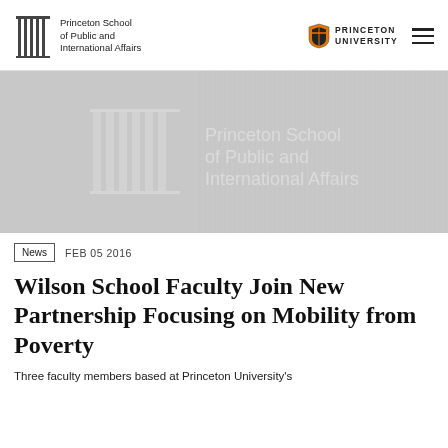Princeton School of Public and International Affairs | Princeton University
[Figure (illustration): Hero banner with light gray background, Princeton School of Public and International Affairs logo with pillars and school name in white text]
News   FEB 05 2016
Wilson School Faculty Join New Partnership Focusing on Mobility from Poverty
Three faculty members based at Princeton University's